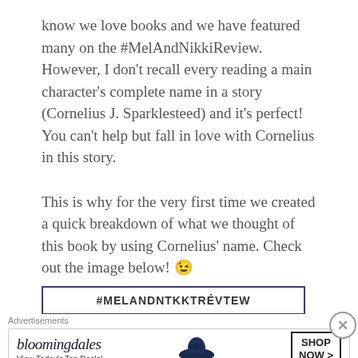know we love books and we have featured many on the #MelAndNikkiReview. However, I don't recall every reading a main character's complete name in a story (Cornelius J. Sparklesteed) and it's perfect! You can't help but fall in love with Cornelius in this story.
This is why for the very first time we created a quick breakdown of what we thought of this book by using Cornelius' name. Check out the image below! 😉
[Figure (other): Partial view of a review image box with border showing '#MELANDNTKKTREVIEW' text header]
Advertisements
[Figure (other): Bloomingdale's advertisement banner with logo, 'View Today's Top Deals!' tagline, woman with wide-brim hat image, and 'SHOP NOW >' button]